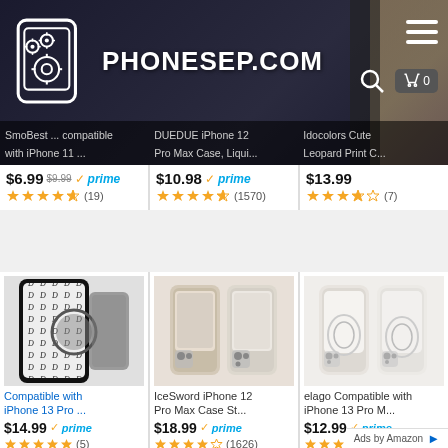[Figure (screenshot): PHONESEP.COM website header with logo (phone with gears icon) on dark background, hamburger menu, search and cart icons, and product images in background]
SmoBest ... Compatible with iPhone 11 ...
DUEDUE iPhone 12 Pro Max Case, Liqui...
Idocolors Cute Leopard Print C...
$6.99  $9.99  ✓prime  ★★★★½ (19)
$10.98  ✓prime  ★★★★½ (1570)
$13.99  ★★★★☆ (7)
[Figure (photo): Black and white patterned phone case (D logo pattern) shown on iPhone 13 Pro]
[Figure (photo): Beige/cream colored slim phone cases shown for iPhone 12 Pro Max]
[Figure (photo): White/cream slim cases for iPhone 13 Pro M shown from back]
Compatible with iPhone 13 Pro ...
IceSword iPhone 12 Pro Max Case St...
elago Compatible with iPhone 13 Pro M...
$14.99  ✓prime  ★★★★★ (5)
$18.99  ✓prime  ★★★★☆ (1626)
$12.99  ✓prime  ★★★★½ (6528)
Ads by Amazon ▶